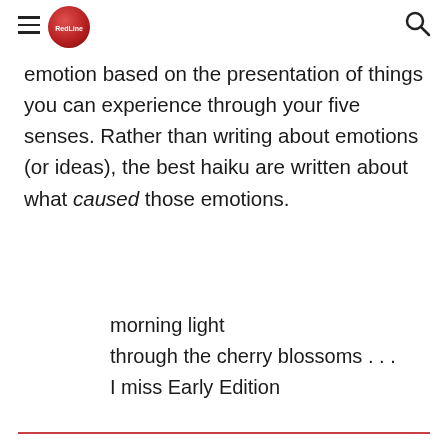[hamburger menu icon] [logo circle] [search icon]
emotion based on the presentation of things you can experience through your five senses. Rather than writing about emotions (or ideas), the best haiku are written about what caused those emotions.
morning light
through the cherry blossoms . . .
I miss Early Edition